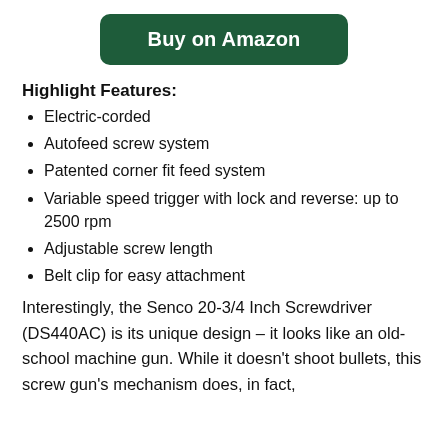[Figure (other): Green 'Buy on Amazon' button]
Highlight Features:
Electric-corded
Autofeed screw system
Patented corner fit feed system
Variable speed trigger with lock and reverse: up to 2500 rpm
Adjustable screw length
Belt clip for easy attachment
Interestingly, the Senco 20-3/4 Inch Screwdriver (DS440AC) is its unique design – it looks like an old-school machine gun. While it doesn't shoot bullets, this screw gun's mechanism does, in fact,